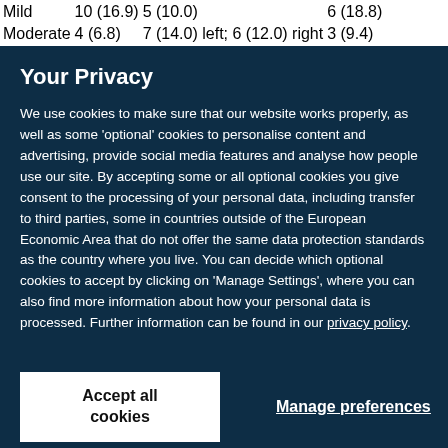| Mild | 10 (16.9) | 5 (10.0) | 6 (18.8) |
| Moderate | 4 (6.8) | 7 (14.0) left; 6 (12.0) right | 3 (9.4) |
Your Privacy
We use cookies to make sure that our website works properly, as well as some ‘optional’ cookies to personalise content and advertising, provide social media features and analyse how people use our site. By accepting some or all optional cookies you give consent to the processing of your personal data, including transfer to third parties, some in countries outside of the European Economic Area that do not offer the same data protection standards as the country where you live. You can decide which optional cookies to accept by clicking on ‘Manage Settings’, where you can also find more information about how your personal data is processed. Further information can be found in our privacy policy.
Accept all cookies
Manage preferences